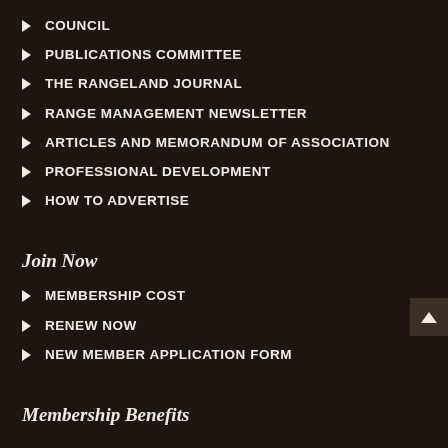COUNCIL
PUBLICATIONS COMMITTEE
THE RANGELAND JOURNAL
RANGE MANAGEMENT NEWSLETTER
ARTICLES AND MEMORANDUM OF ASSOCIATION
PROFESSIONAL DEVELOPMENT
HOW TO ADVERTISE
Join Now
MEMBERSHIP COST
RENEW NOW
NEW MEMBER APPLICATION FORM
Membership Benefits
Awards